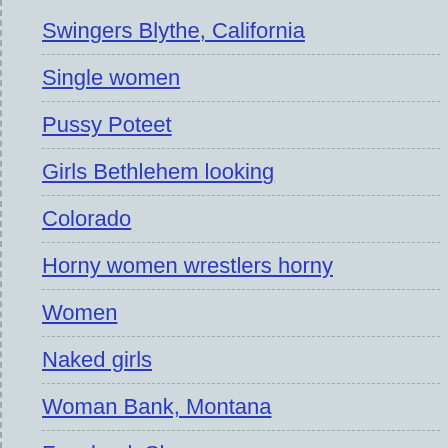Swingers Blythe, California
Single women
Pussy Poteet
Girls Bethlehem looking
Colorado
Horny women wrestlers horny
Women
Naked girls
Woman Bank, Montana
Facebook Share